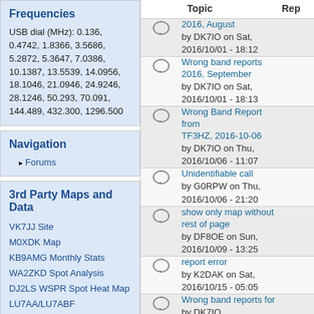Frequencies
USB dial (MHz): 0.136, 0.4742, 1.8366, 3.5686, 5.2872, 5.3647, 7.0386, 10.1387, 13.5539, 14.0956, 18.1046, 21.0946, 24.9246, 28.1246, 50.293, 70.091, 144.489, 432.300, 1296.500
Navigation
Forums
3rd Party Maps and Data
VK7JJ Site
M0XDK Map
KB9AMG Monthly Stats
WA2ZKD Spot Analysis
DJ2LS WSPR Spot Heat Map
LU7AA/LU7ABF Maps/Graphs (slow load)
Who's online
| Topic | Rep |
| --- | --- |
| 2016, August
by DK7IO on Sat, 2016/10/01 - 18:12 |  |
| Wrong band reports 2016, September
by DK7IO on Sat, 2016/10/01 - 18:13 |  |
| Wrong Band Report from TF3HZ, 2016-10-06
by DK7IO on Thu, 2016/10/06 - 11:07 |  |
| Unidentifiable call
by G0RPW on Thu, 2016/10/06 - 21:20 |  |
| show only map without rest of page
by DF8OE on Sun, 2016/10/09 - 13:25 |  |
| report error
by K2DAK on Sat, 2016/10/15 - 05:05 |  |
| Wrong band reports for
by DK7IO |  |